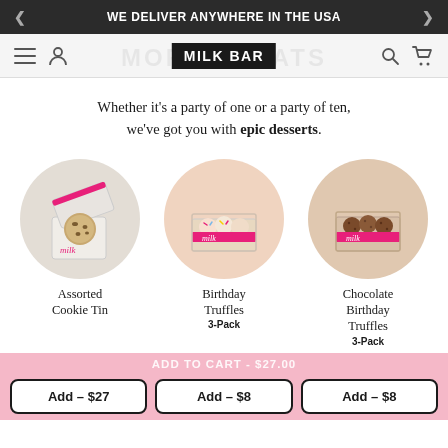WE DELIVER ANYWHERE IN THE USA
[Figure (logo): MILK BAR logo in white text on black background, navigation bar with hamburger menu, user icon, search icon, and cart icon]
Whether it’s a party of one or a party of ten, we’ve got you with epic desserts.
[Figure (photo): Assorted Cookie Tin - a white box with pink Milk bar branding and a cookie inside, shown in a circular crop]
Assorted Cookie Tin
[Figure (photo): Birthday Truffles 3-Pack - pink Milk branded truffles in a clear box, circular crop on peachy background]
Birthday Truffles
3-Pack
[Figure (photo): Chocolate Birthday Truffles 3-Pack - chocolate truffles with Milk branding in a box, circular crop on tan background]
Chocolate Birthday Truffles
3-Pack
ADD TO CART - $27.00
Add – $27
Add – $8
Add – $8